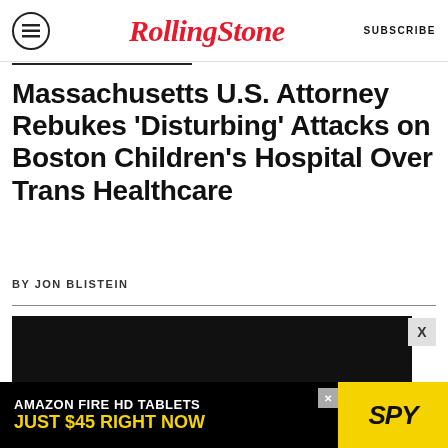Rolling Stone — SUBSCRIBE
Massachusetts U.S. Attorney Rebukes 'Disturbing' Attacks on Boston Children's Hospital Over Trans Healthcare
BY JON BLISTEIN
[Figure (screenshot): Rolling Stone magazine logo displayed in red italic serif font on a dark/black background, used as article hero image.]
[Figure (infographic): Advertisement banner: 'AMAZON FIRE HD TABLETS JUST $45 RIGHT NOW' text on black background with yellow SPY logo on the right side.]